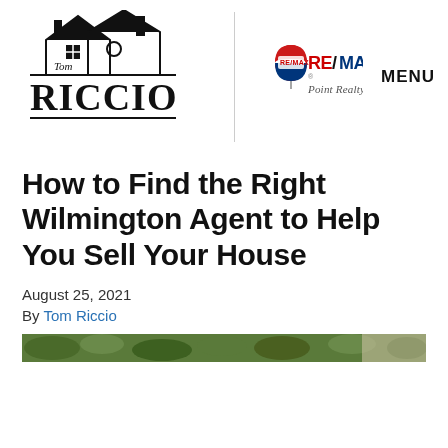[Figure (logo): Tom Riccio real estate logo with two house silhouettes and the name Tom Riccio in large serif text]
[Figure (logo): RE/MAX Point Realty logo with hot air balloon icon in red, white and blue, text RE/MAX in red and blue, and Point Realty in italic below]
MENU
How to Find the Right Wilmington Agent to Help You Sell Your House
August 25, 2021
By Tom Riccio
[Figure (photo): Partial view of a house exterior with green foliage]